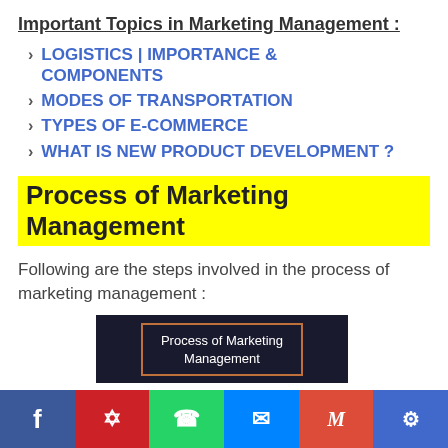Important Topics in Marketing Management :
LOGISTICS | IMPORTANCE & COMPONENTS
MODES OF TRANSPORTATION
TYPES OF E-COMMERCE
WHAT IS NEW PRODUCT DEVELOPMENT ?
Process of Marketing Management
Following are the steps involved in the process of marketing management :
[Figure (screenshot): Dark background thumbnail with orange-bordered box containing white text 'Process of Marketing Management']